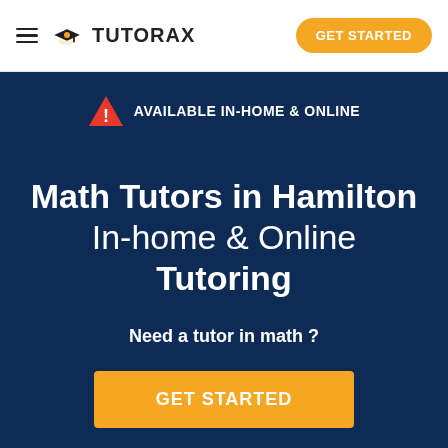≡ TUTORAX | GET STARTED
AVAILABLE IN-HOME & ONLINE
Math Tutors in Hamilton
In-home & Online Tutoring
Need a tutor in math ?
GET STARTED